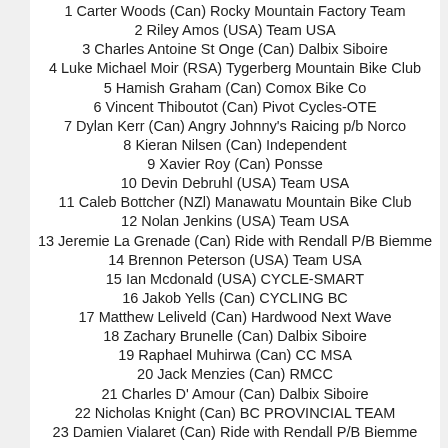1 Carter Woods (Can) Rocky Mountain Factory Team
2 Riley Amos (USA) Team USA
3 Charles Antoine St Onge (Can) Dalbix Siboire
4 Luke Michael Moir (RSA) Tygerberg Mountain Bike Club
5 Hamish Graham (Can) Comox Bike Co
6 Vincent Thiboutot (Can) Pivot Cycles-OTE
7 Dylan Kerr (Can) Angry Johnny's Raicing p/b Norco
8 Kieran Nilsen (Can) Independent
9 Xavier Roy (Can) Ponsse
10 Devin Debruhl (USA) Team USA
11 Caleb Bottcher (NZl) Manawatu Mountain Bike Club
12 Nolan Jenkins (USA) Team USA
13 Jeremie La Grenade (Can) Ride with Rendall P/B Biemme
14 Brennon Peterson (USA) Team USA
15 Ian Mcdonald (USA) CYCLE-SMART
16 Jakob Yells (Can) CYCLING BC
17 Matthew Leliveld (Can) Hardwood Next Wave
18 Zachary Brunelle (Can) Dalbix Siboire
19 Raphael Muhirwa (Can) CC MSA
20 Jack Menzies (Can) RMCC
21 Charles D' Amour (Can) Dalbix Siboire
22 Nicholas Knight (Can) BC PROVINCIAL TEAM
23 Damien Vialaret (Can) Ride with Rendall P/B Biemme